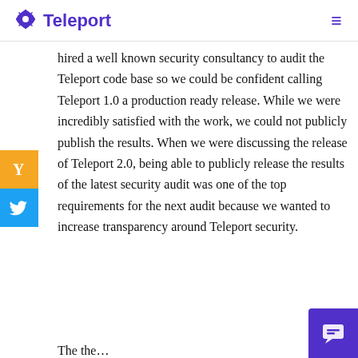Teleport
hired a well known security consultancy to audit the Teleport code base so we could be confident calling Teleport 1.0 a production ready release. While we were incredibly satisfied with the work, we could not publicly publish the results. When we were discussing the release of Teleport 2.0, being able to publicly release the results of the latest security audit was one of the top requirements for the next audit because we wanted to increase transparency around Teleport security.
The the…